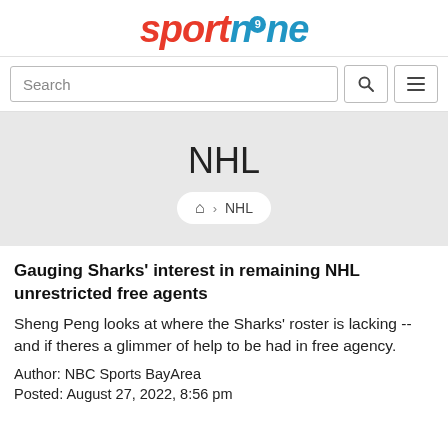SPORTN9NE
Search
NHL
Home > NHL
Gauging Sharks' interest in remaining NHL unrestricted free agents
Sheng Peng looks at where the Sharks' roster is lacking -- and if theres a glimmer of help to be had in free agency.
Author: NBC Sports BayArea
Posted: August 27, 2022, 8:56 pm